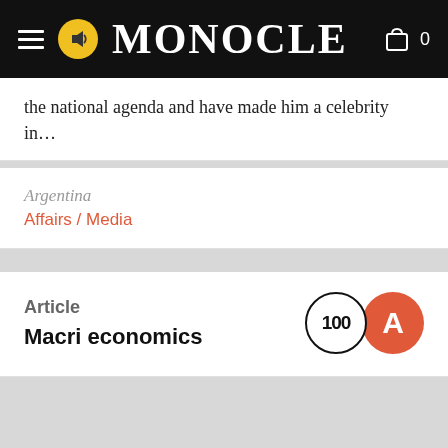MONOCLE
the national agenda and have made him a celebrity in…
Argentina
Affairs / Media
Article
Macri economics